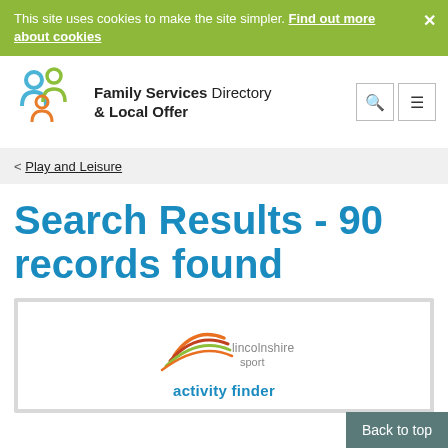This site uses cookies to make the site simpler. Find out more about cookies ×
[Figure (logo): Family Services Directory & Local Offer logo with three abstract people figures in blue, green and orange]
Family Services Directory & Local Offer
< Play and Leisure
Search Results - 90 records found
[Figure (logo): Lincolnshire Sport activity finder logo with swoosh design in orange, green and red colors]
activity finder
Back to top